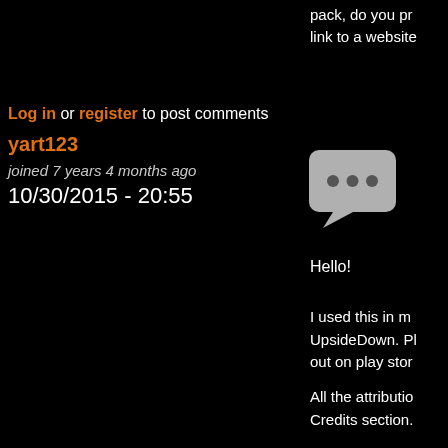pack, do you pr link to a website
Log in or register to post comments
yart123
joined 7 years 4 months ago
10/30/2015 - 20:55
[Figure (illustration): Speech bubble icon with three dots]
Hello!
I used this in m UpsideDown. Pl out on play stor
All the attributio Credits section.
Link: https://pl id=com.itcorp
If you like the g leave me 5 star
Attachments: